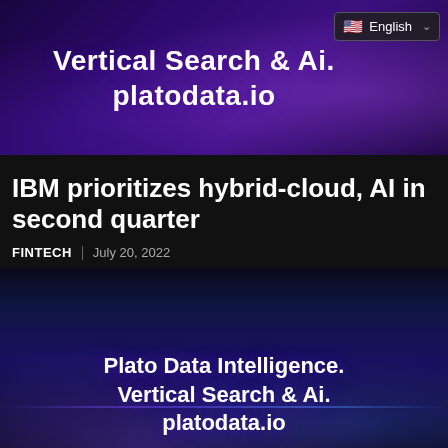[Figure (illustration): Dark purple/violet digital network banner with glowing nodes and connections, text overlay: 'Vertical Search & Ai. platodata.io']
English (language selector with flag)
IBM prioritizes hybrid-cloud, AI in second quarter
FINTECH | July 20, 2022
[Figure (illustration): Dark blue/purple digital wave banner with glowing particles and connections, text overlay: 'Plato Data Intelligence. Vertical Search & Ai. platodata.io']